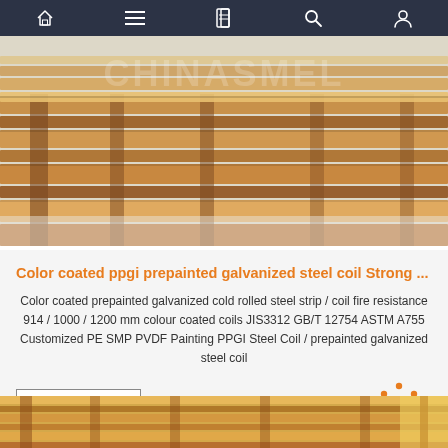Navigation bar with home, menu, document, search, and profile icons
[Figure (photo): Stacked wooden pallets photographed from an angle, with a watermark reading CHINASMEL in the background]
Color coated ppgi prepainted galvanized steel coil Strong ...
Color coated prepainted galvanized cold rolled steel strip / coil fire resistance 914 / 1000 / 1200 mm colour coated coils JIS3312 GB/T 12754 ASTM A755 Customized PE SMP PVDF Painting PPGI Steel Coil / prepainted galvanized steel coil
Get Price
[Figure (photo): Partial view of stacked wooden pallets at the bottom of the page]